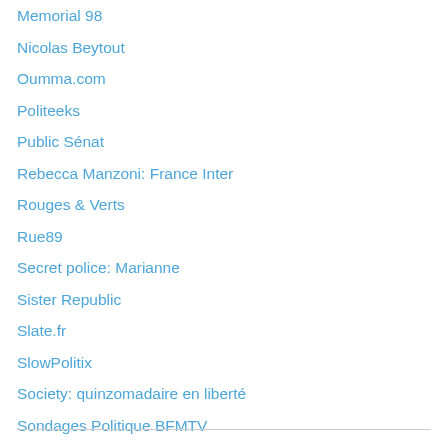Memorial 98
Nicolas Beytout
Oumma.com
Politeeks
Public Sénat
Rebecca Manzoni: France Inter
Rouges & Verts
Rue89
Secret police: Marianne
Sister Republic
Slate.fr
SlowPolitix
Society: quinzomadaire en liberté
Sondages Politique BFMTV
Thomas Legrand: France Inter
Titiou Lecoq
Tocqueville 21
Une année en France